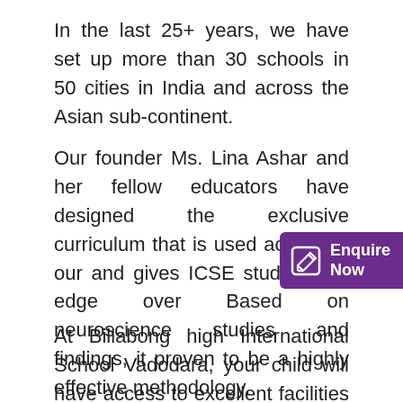In the last 25+ years, we have set up more than 30 schools in 50 cities in India and across the Asian sub-continent.
Our founder Ms. Lina Ashar and her fellow educators have designed the exclusive curriculum that is used across all our and gives ICSE students an edge over Based on neuroscience studies and findings, it proven to be a highly effective methodology.
[Figure (other): Purple 'Enquire Now' button with pencil/edit icon, positioned on the right side of the page]
At Billabong high International School Vadodara, your child will have access to excellent facilities and amenities. These include: